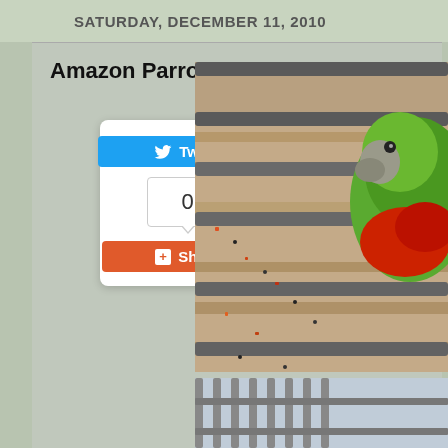SATURDAY, DECEMBER 11, 2010
Amazon Parrot
[Figure (other): Twitter Tweet button widget with count 0 and Google+ Share button]
[Figure (photo): Close-up photo of a green Amazon parrot with red feathers eating from a cage tray filled with seeds and food]
[Figure (photo): Second photo partially visible showing cage bars, likely another parrot photo]